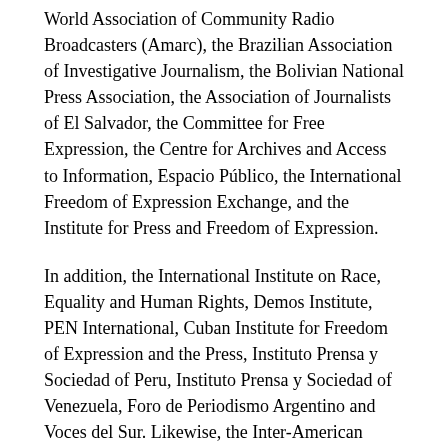World Association of Community Radio Broadcasters (Amarc), the Brazilian Association of Investigative Journalism, the Bolivian National Press Association, the Association of Journalists of El Salvador, the Committee for Free Expression, the Centre for Archives and Access to Information, Espacio Público, the International Freedom of Expression Exchange, and the Institute for Press and Freedom of Expression.
In addition, the International Institute on Race, Equality and Human Rights, Demos Institute, PEN International, Cuban Institute for Freedom of Expression and the Press, Instituto Prensa y Sociedad of Peru, Instituto Prensa y Sociedad of Venezuela, Foro de Periodismo Argentino and Voces del Sur. Likewise, the Inter-American Commission on Human Rights (IACHR) and its Special Rapporteurs